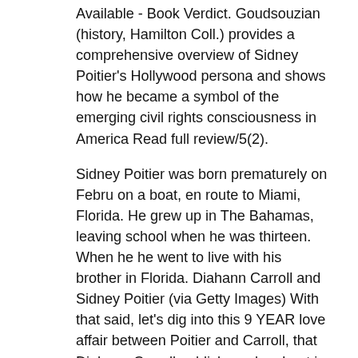Available - Book Verdict. Goudsouzian (history, Hamilton Coll.) provides a comprehensive overview of Sidney Poitier's Hollywood persona and shows how he became a symbol of the emerging civil rights consciousness in America Read full review/5(2).
Sidney Poitier was born prematurely on Febru on a boat, en route to Miami, Florida. He grew up in The Bahamas, leaving school when he was thirteen. When he he went to live with his brother in Florida. Diahann Carroll and Sidney Poitier (via Getty Images) With that said, let's dig into this 9 YEAR love affair between Poitier and Carroll, that Diahann Carroll publicly spoke about in her book.
Apparently there were plenty of mistakes and painful moments from both parties during the time they were seeing one another without the knowledge of. Sidney Poitier wrote The Measure of a Man: A Spiritual Autobiography because he felt called to write about certain values, such as integrity and commitment, faith Free shipping over $ Skip to contentCited by: In the first full biography of actor Sidney Poitier, Aram Goudsouzian